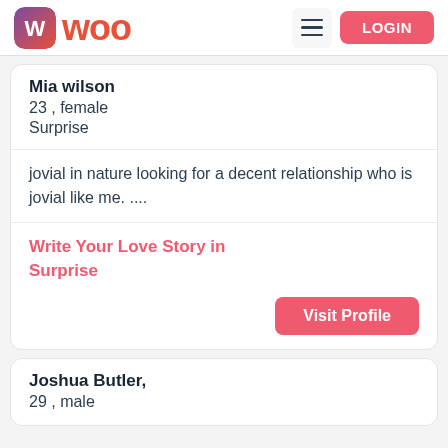WOO  LOGIN
Mia wilson
23 , female
Surprise
jovial in nature looking for a decent relationship who is jovial like me. ....
Write Your Love Story in Surprise
Visit Profile
Joshua Butler,
29 , male